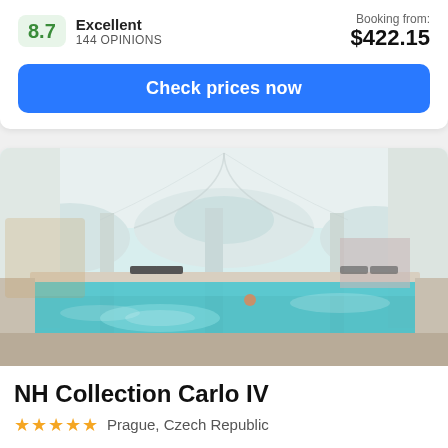8.7 Excellent 144 OPINIONS
Booking from: $422.15
Check prices now
[Figure (photo): Indoor hotel swimming pool with arched white ceilings, marble surroundings, and clear blue-green water; a swimmer is visible in the pool with lounge chairs in the background]
NH Collection Carlo IV
★★★★★ Prague, Czech Republic
"Great spa, superb location, would definitely go back" –